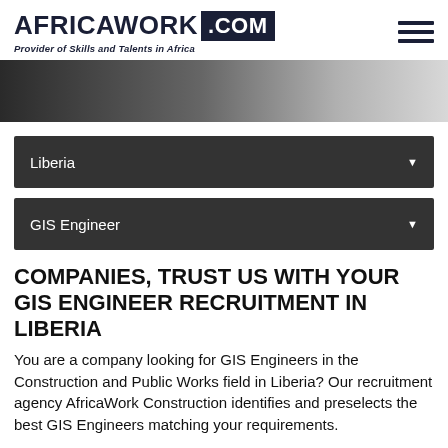AFRICAWORK .COM — Provider of Skills and Talents in Africa
[Figure (photo): Partial hero image showing a person in the background, fading from dark to light.]
Liberia
GIS Engineer
COMPANIES, TRUST US WITH YOUR GIS ENGINEER RECRUITMENT IN LIBERIA
You are a company looking for GIS Engineers in the Construction and Public Works field in Liberia? Our recruitment agency AfricaWork Construction identifies and preselects the best GIS Engineers matching your requirements.